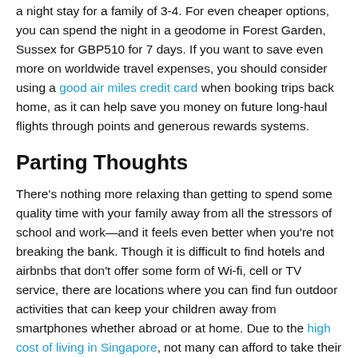a night stay for a family of 3-4. For even cheaper options, you can spend the night in a geodome in Forest Garden, Sussex for GBP510 for 7 days. If you want to save even more on worldwide travel expenses, you should consider using a good air miles credit card when booking trips back home, as it can help save you money on future long-haul flights through points and generous rewards systems.
Parting Thoughts
There's nothing more relaxing than getting to spend some quality time with your family away from all the stressors of school and work—and it feels even better when you're not breaking the bank. Though it is difficult to find hotels and airbnbs that don't offer some form of Wi-fi, cell or TV service, there are locations where you can find fun outdoor activities that can keep your children away from smartphones whether abroad or at home. Due to the high cost of living in Singapore, not many can afford to take their entire family on vacation just to